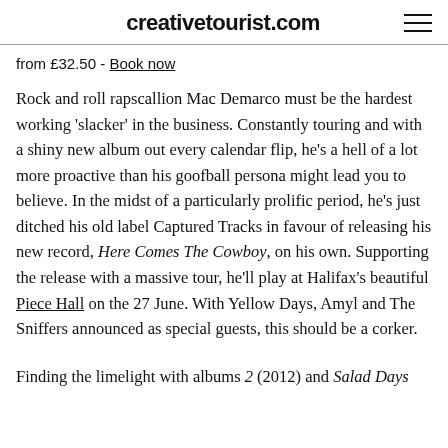creativetourist.com
from £32.50 - Book now
Rock and roll rapscallion Mac Demarco must be the hardest working 'slacker' in the business. Constantly touring and with a shiny new album out every calendar flip, he's a hell of a lot more proactive than his goofball persona might lead you to believe. In the midst of a particularly prolific period, he's just ditched his old label Captured Tracks in favour of releasing his new record, Here Comes The Cowboy, on his own. Supporting the release with a massive tour, he'll play at Halifax's beautiful Piece Hall on the 27 June. With Yellow Days, Amyl and The Sniffers announced as special guests, this should be a corker.
Finding the limelight with albums 2 (2012) and Salad Days